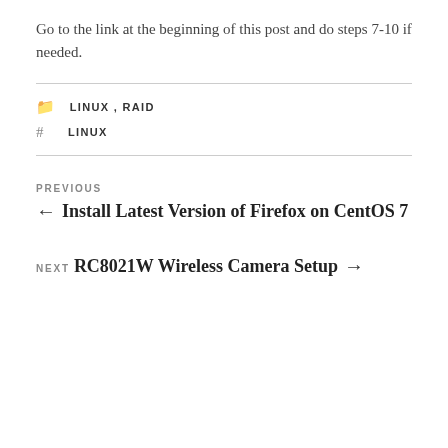Go to the link at the beginning of this post and do steps 7-10 if needed.
LINUX , RAID
LINUX
PREVIOUS
← Install Latest Version of Firefox on CentOS 7
NEXT
RC8021W Wireless Camera Setup →